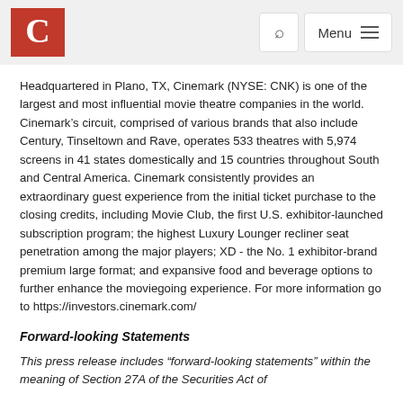Cinemark logo, search button, Menu button
Headquartered in Plano, TX, Cinemark (NYSE: CNK) is one of the largest and most influential movie theatre companies in the world. Cinemark’s circuit, comprised of various brands that also include Century, Tinseltown and Rave, operates 533 theatres with 5,974 screens in 41 states domestically and 15 countries throughout South and Central America. Cinemark consistently provides an extraordinary guest experience from the initial ticket purchase to the closing credits, including Movie Club, the first U.S. exhibitor-launched subscription program; the highest Luxury Lounger recliner seat penetration among the major players; XD - the No. 1 exhibitor-brand premium large format; and expansive food and beverage options to further enhance the moviegoing experience. For more information go to https://investors.cinemark.com/
Forward-looking Statements
This press release includes “forward-looking statements” within the meaning of Section 27A of the Securities Act of